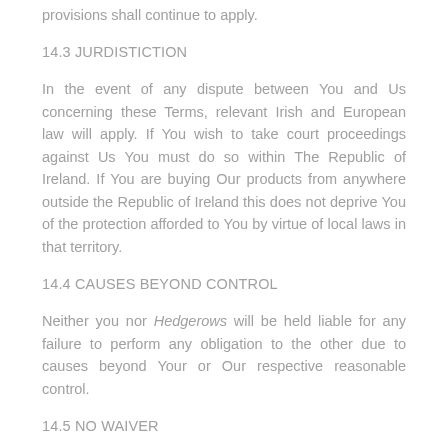provisions shall continue to apply.
14.3 JURDISTICTION
In the event of any dispute between You and Us concerning these Terms, relevant Irish and European law will apply. If You wish to take court proceedings against Us You must do so within The Republic of Ireland. If You are buying Our products from anywhere outside the Republic of Ireland this does not deprive You of the protection afforded to You by virtue of local laws in that territory.
14.4 CAUSES BEYOND CONTROL
Neither you nor Hedgerows will be held liable for any failure to perform any obligation to the other due to causes beyond Your or Our respective reasonable control.
14.5 NO WAIVER
If you breach these Terms and We take no action against You, We will still be entitled to use Our rights and remedies in any other situation where You breach these Terms.